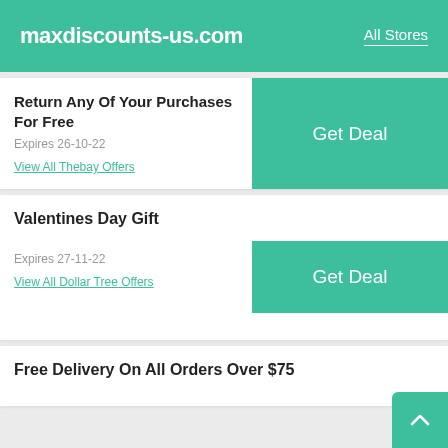maxdiscounts-us.com | All Stores
Return Any Of Your Purchases For Free
Expires 26-10-22
View All Thebay Offers
Valentines Day Gift
Expires 27-11-22
View All Dollar Tree Offers
Free Delivery On All Orders Over $75